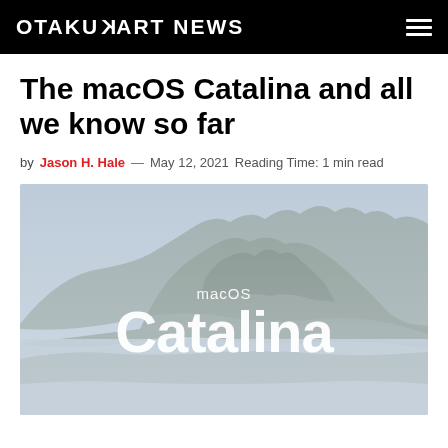OTAKUKART NEWS
The macOS Catalina and all we know so far
by Jason H. Hale — May 12, 2021 Reading Time: 1 min read
[Figure (photo): macOS Catalina splash screen showing an island/mountain landscape with the text 'macOS Catalina' overlaid in white]